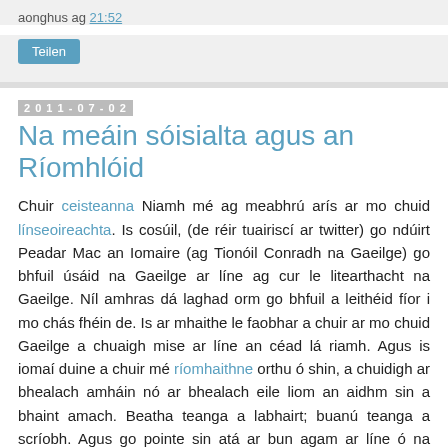aonghus ag 21:52
Teilen
2011-07-02
Na meáin sóisialta agus an Ríomhlóid
Chuir ceisteanna Niamh mé ag meabhrú arís ar mo chuid línseoireachta. Is cosúil, (de réir tuairiscí ar twitter) go ndúirt Peadar Mac an Iomaire (ag Tionóil Conradh na Gaeilge) go bhfuil úsáid na Gaeilge ar líne ag cur le litearthacht na Gaeilge. Níl amhras dá laghad orm go bhfuil a leithéid fíor i mo chás fhéin de. Is ar mhaithe le faobhar a chuir ar mo chuid Gaeilge a chuaigh mise ar líne an céad lá riamh. Agus is iomaí duine a chuir mé ríomhaithne orthu ó shin, a chuidigh ar bhealach amháin nó ar bhealach eile liom an aidhm sin a bhaint amach. Beatha teanga a labhairt; buanú teanga a scríobh. Agus go pointe sin atá ar bun agam ar líne ó na laethanta luatha ar liosta ríomhphoist Gaeilge-A nó ar clár plé Cumasc nach maireann. (Tharrtháil Pádraig cuid de na seoda liteartha uaidh sin, áfach.) Is ann fós do Chlár Plé